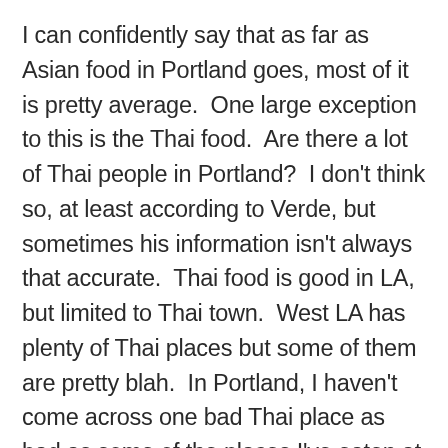I can confidently say that as far as Asian food in Portland goes, most of it is pretty average.  One large exception to this is the Thai food.  Are there a lot of Thai people in Portland?  I don't think so, at least according to Verde, but sometimes his information isn't always that accurate.  Thai food is good in LA, but limited to Thai town.  West LA has plenty of Thai places but some of them are pretty blah.  In Portland, I haven't come across one bad Thai place as bad as some of the places I've eaten at in LA.  For this, I am grateful.  This is what keeps me alive in Portland because I am someone that NEEDS a regular helping of rice and all else Asian.  Granted, when I eat Thai food with Dumpling Man, I am usually limited to 2 dishes, yellow chicken curry and pad see ew, but really I love all other Thai flavors and